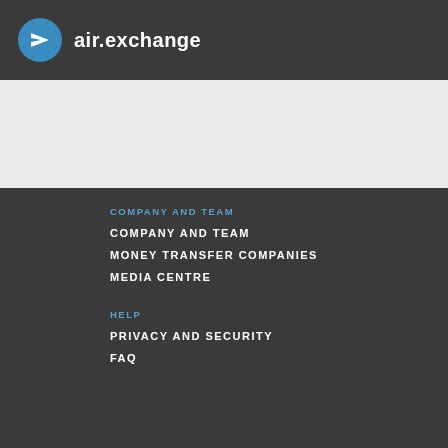air.exchange
COMPANY AND TEAM
COMPANY AND TEAM
MONEY TRANSFER COMPANIES
MEDIA CENTRE
HELP
PRIVACY AND SECURITY
FAQ